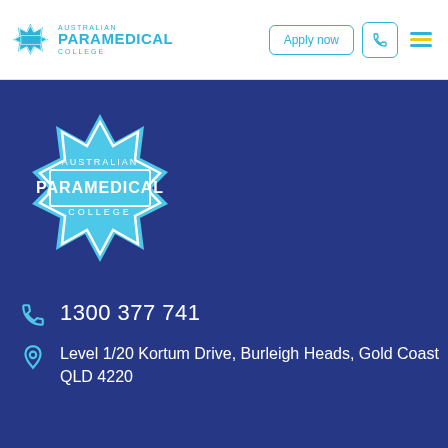[Figure (logo): Australian Paramedical College logo with star of life emblem and text in cyan/blue. Header version (small).]
Apply now
[Figure (logo): Australian Paramedical College large logo with star of life emblem on dark blue background.]
1300 377 741
Level 1/20 Kortum Drive, Burleigh Heads, Gold Coast QLD 4220